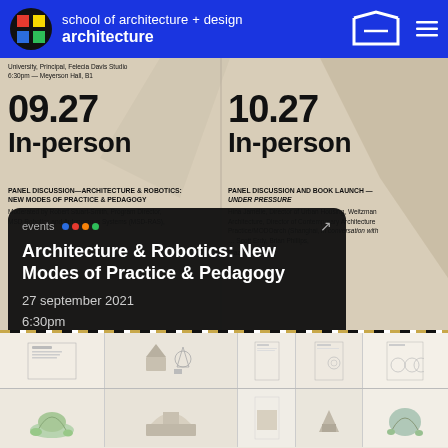school of architecture + design — architecture | Virginia Tech
University, Principal, Felecia Davis Studio
6:30pm — Meyerson Hall, B1
09.27
In-person
PANEL DISCUSSION—ARCHITECTURE & ROBOTICS: NEW MODES OF PRACTICE & PEDAGOGY
Moderated by Robert Stuart-Smith, Program Director, MSD Robotics and Autonomous Systems (MSD-RAS),
10.27
In-person
PANEL DISCUSSION AND BOOK LAUNCH — UNDER PRESSURE
Hina Jamelle, Director of Urban Housing, Weitzman Architecture, Director of Contemporary Architecture Practice/MODOarch (Shanghai, in conversation with … Scott Erdy, Brian Phillips,
… Plaza Gallery
events
Architecture & Robotics: New Modes of Practice & Pedagogy
27 september 2021
6:30pm
[Figure (photo): Bottom gallery strip showing architectural drawings and plans in a grid layout]